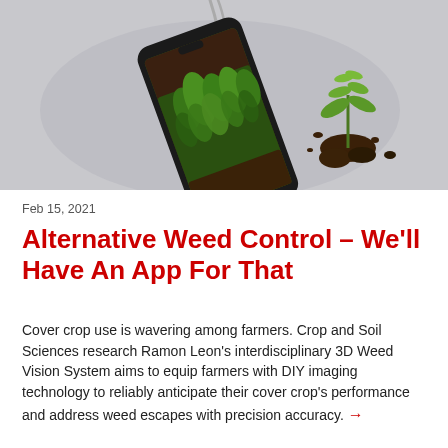[Figure (photo): Overhead photo of a smartphone laying on a grey surface, its screen showing a field of green corn/crop plants. A small seedling with soil clumps is placed to the right of the phone. A cable is visible near the top.]
Feb 15, 2021
Alternative Weed Control – We'll Have An App For That
Cover crop use is wavering among farmers. Crop and Soil Sciences research Ramon Leon's interdisciplinary 3D Weed Vision System aims to equip farmers with DIY imaging technology to reliably anticipate their cover crop's performance and address weed escapes with precision accuracy. →